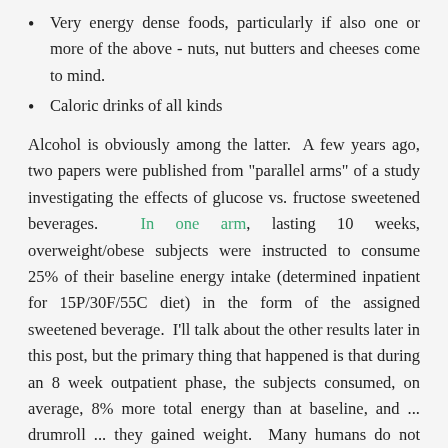Very energy dense foods, particularly if also one or more of the above - nuts, nut butters and cheeses come to mind.
Caloric drinks of all kinds
Alcohol is obviously among the latter.  A few years ago, two papers were published from "parallel arms" of a study investigating the effects of glucose vs. fructose sweetened beverages.  In one arm, lasting 10 weeks, overweight/obese subjects were instructed to consume 25% of their baseline energy intake (determined inpatient for 15P/30F/55C diet) in the form of the assigned sweetened beverage.  I'll talk about the other results later in this post, but the primary thing that happened is that during an 8 week outpatient phase, the subjects consumed, on average, 8% more total energy than at baseline, and ... drumroll ... they gained weight.  Many humans do not seem to sense liquid calories all that well, for whatever reason.  I'm all ears for studies pro and con, but when one considers that on average Americans are getting more